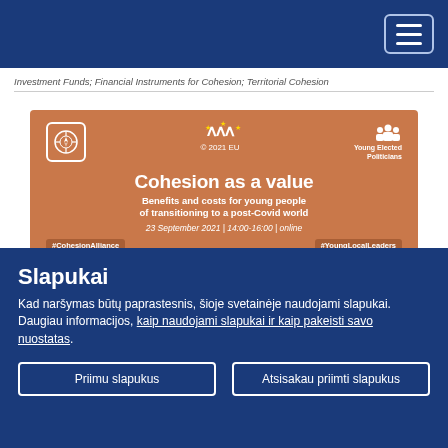Navigation bar with hamburger menu
Investment Funds; Financial Instruments for Cohesion; Territorial Cohesion
[Figure (illustration): Event card on orange/terracotta background. Three logos across the top: a compass/globe logo in a white-bordered box, '© 2021 EU' text with EU stars, and 'Young Elected Politicians' with crowd icon. Main text: 'Cohesion as a value' in large bold white. Subtitle: 'Benefits and costs for young people of transitioning to a post-Covid world'. Date: '23 September 2021 | 14:00-16:00 | online'. Bottom tags: '#CohesionAlliance' and '#YoungLocalLeaders'.]
Slapukai
Kad naršymas būtų paprastesnis, šioje svetainėje naudojami slapukai. Daugiau informacijos, kaip naudojami slapukai ir kaip pakeisti savo nuostatas.
Priimu slapukus
Atsisakau priimti slapukus